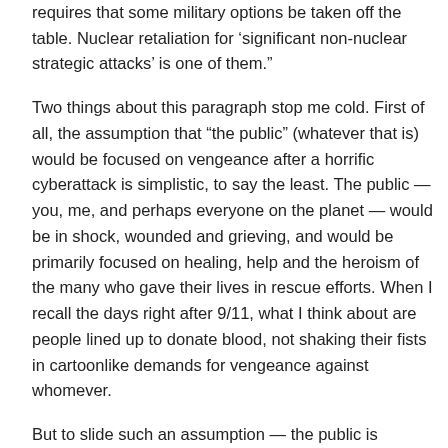requires that some military options be taken off the table. Nuclear retaliation for ‘significant non-nuclear strategic attacks’ is one of them.”
Two things about this paragraph stop me cold. First of all, the assumption that “the public” (whatever that is) would be focused on vengeance after a horrific cyberattack is simplistic, to say the least. The public — you, me, and perhaps everyone on the planet — would be in shock, wounded and grieving, and would be primarily focused on healing, help and the heroism of the many who gave their lives in rescue efforts. When I recall the days right after 9/11, what I think about are people lined up to donate blood, not shaking their fists in cartoonlike demands for vengeance against whomever.
But to slide such an assumption — the public is